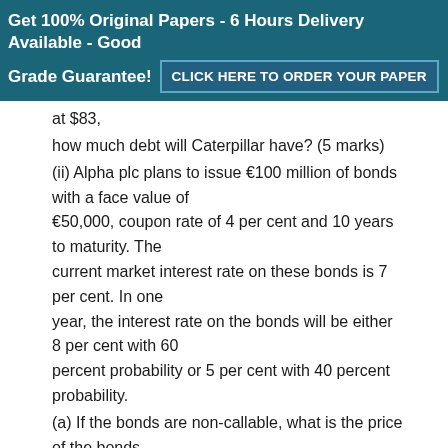Get 100% Original Papers - 6 Hours Delivery Available - Good Grade Guarantee! CLICK HERE TO ORDER YOUR PAPER
at $83,
how much debt will Caterpillar have? (5 marks)
(ii) Alpha plc plans to issue €100 million of bonds with a face value of €50,000, coupon rate of 4 per cent and 10 years to maturity. The current market interest rate on these bonds is 7 per cent. In one year, the interest rate on the bonds will be either 8 per cent with 60 percent probability or 5 per cent with 40 percent probability.
(a) If the bonds are non-callable, what is the price of the bonds today? (10 marks)
(b) If the bonds are callable one year from today, will their